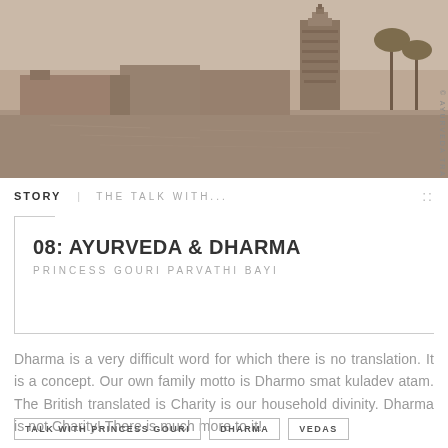[Figure (photo): Sepia-toned photograph of an Indian temple by a waterfront, with gopuram (tower) visible, surrounding buildings and palm trees reflected in water. Watermark reads '© AYURVEDA TRAILS' vertically on right side.]
STORY  |  THE TALK WITH...
08: AYURVEDA & DHARMA
PRINCESS GOURI PARVATHI BAYI
Dharma is a very difficult word for which there is no translation. It is a concept. Our own family motto is Dharmo smat kuladev atam. The British translated is Charity is our household divinity. Dharma is not Charity! There is much more to it!
TALK WITH PRINCESS GOURI
DHARMA
VEDAS